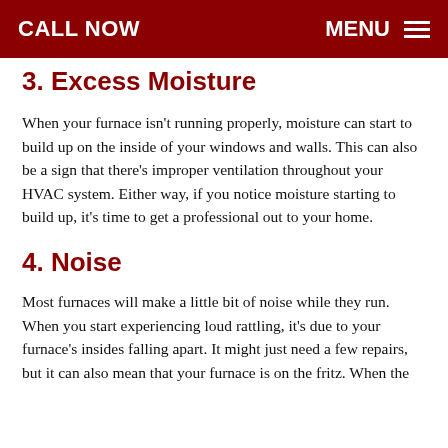CALL NOW   MENU
3. Excess Moisture
When your furnace isn't running properly, moisture can start to build up on the inside of your windows and walls. This can also be a sign that there's improper ventilation throughout your HVAC system. Either way, if you notice moisture starting to build up, it's time to get a professional out to your home.
4. Noise
Most furnaces will make a little bit of noise while they run. When you start experiencing loud rattling, it's due to your furnace's insides falling apart. It might just need a few repairs, but it can also mean that your furnace is on the fritz. When the